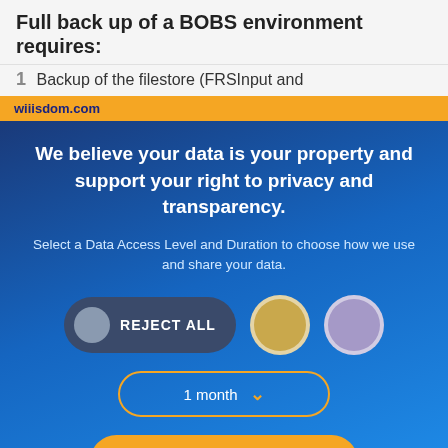Full back up of a BOBS environment requires:
1  Backup of the filestore (FRSInput and
wiiisdom.com
We believe your data is your property and support your right to privacy and transparency.
Select a Data Access Level and Duration to choose how we use and share your data.
[Figure (infographic): Consent UI with REJECT ALL toggle button, two circular icons (gold and lavender), a 1 month dropdown selector, a Save my preferences orange button, and Customize / Privacy policy links at the bottom.]